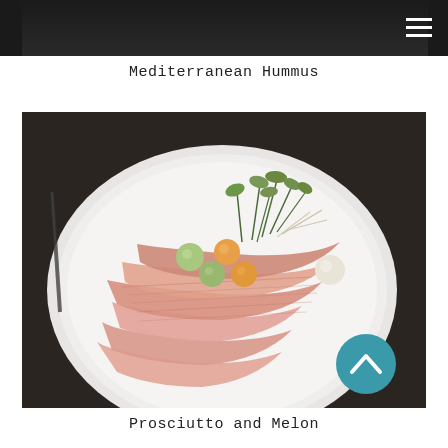Mediterranean Hummus
[Figure (photo): A white plate with thin slices of prosciutto laid out and several melon balls in green, orange, and white colors, garnished with fresh greens/microgreens on top. The plate is set on a dark tablecloth with cutlery visible.]
Prosciutto and Melon